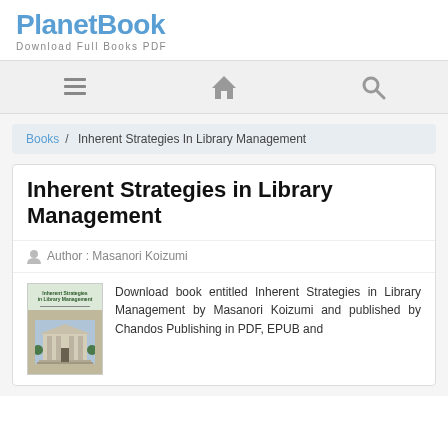PlanetBook
Download Full Books PDF
[Figure (screenshot): Navigation bar with hamburger menu, home icon, and search icon]
Books / Inherent Strategies In Library Management
Inherent Strategies in Library Management
Author : Masanori Koizumi
[Figure (photo): Book cover of Inherent Strategies in Library Management showing building photo]
Download book entitled Inherent Strategies in Library Management by Masanori Koizumi and published by Chandos Publishing in PDF, EPUB and